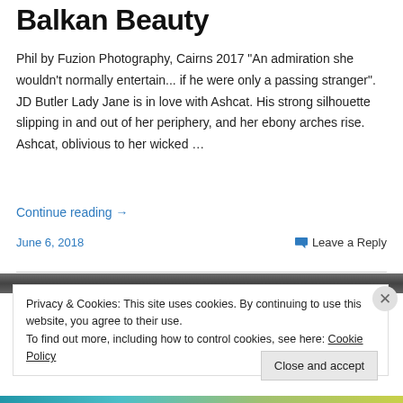Balkan Beauty
Phil by Fuzion Photography, Cairns 2017 "An admiration she wouldn't normally entertain... if he were only a passing stranger". JD Butler Lady Jane is in love with Ashcat. His strong silhouette slipping in and out of her periphery, and her ebony arches rise. Ashcat, oblivious to her wicked …
Continue reading →
June 6, 2018
Leave a Reply
[Figure (photo): Dark header photo strip]
Privacy & Cookies: This site uses cookies. By continuing to use this website, you agree to their use.
To find out more, including how to control cookies, see here: Cookie Policy
Close and accept
[Figure (other): Colorful bottom bar]